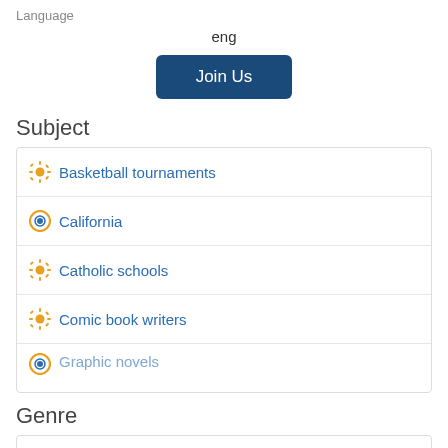Language
eng
Join Us
Subject
Basketball tournaments
California
Catholic schools
Comic book writers
Graphic novels (partial)
Genre
Graphic novels
Comic books, strips, etc
Included in